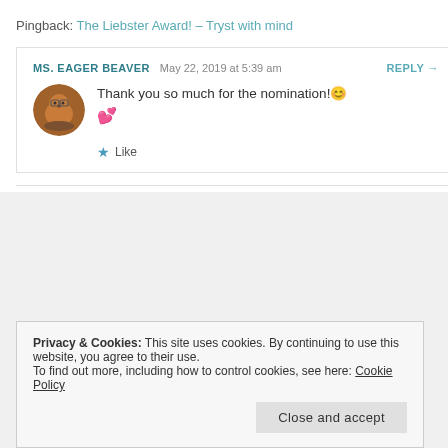Pingback: The Liebster Award! – Tryst with mind
MS. EAGER BEAVER  May 22, 2019 at 5:39 am  REPLY →
Thank you so much for the nomination! 😊 💕
★ Like
Privacy & Cookies: This site uses cookies. By continuing to use this website, you agree to their use. To find out more, including how to control cookies, see here: Cookie Policy
Close and accept